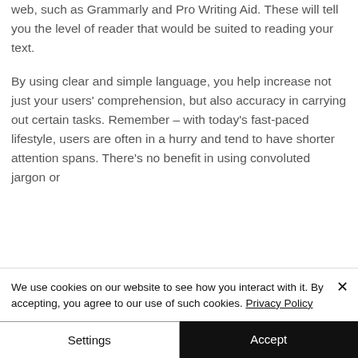web, such as Grammarly and Pro Writing Aid. These will tell you the level of reader that would be suited to reading your text.
By using clear and simple language, you help increase not just your users' comprehension, but also accuracy in carrying out certain tasks. Remember – with today's fast-paced lifestyle, users are often in a hurry and tend to have shorter attention spans. There's no benefit in using convoluted jargon or
We use cookies on our website to see how you interact with it. By accepting, you agree to our use of such cookies. Privacy Policy
Settings
Accept